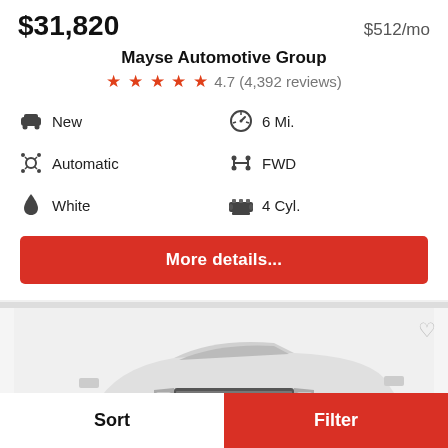$31,820
$512/mo
Mayse Automotive Group
4.7 (4,392 reviews)
New
6 Mi.
Automatic
FWD
White
4 Cyl.
More details...
[Figure (photo): Front view of a white GMC pickup truck, grayscale photo showing the grille and front quarter, GMC badge visible in red on the grille.]